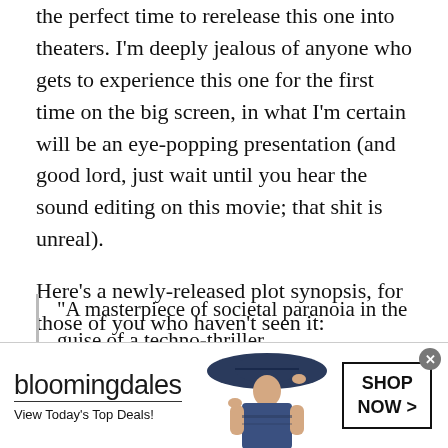the perfect time to rerelease this one into theaters. I'm deeply jealous of anyone who gets to experience this one for the first time on the big screen, in what I'm certain will be an eye-popping presentation (and good lord, just wait until you hear the sound editing on this movie; that shit is unreal).
Here's a newly-released plot synopsis, for those of you who haven't seen it:
"A masterpiece of societal paranoia in the guise of a techno-thriller, THE CONVERSATION full...
[Figure (other): Bloomingdale's advertisement banner showing logo, 'View Today's Top Deals!' tagline, a woman in a wide-brim navy hat, and 'SHOP NOW >' button. Ad close button (x) in top-right.]